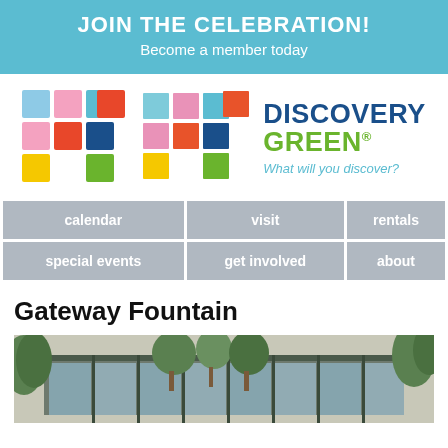JOIN THE CELEBRATION!
Become a member today
[Figure (logo): Discovery Green logo with colorful squares grid and text 'DISCOVERY GREEN® What will you discover?']
| calendar | visit | rentals |
| special events | get involved | about |
Gateway Fountain
[Figure (photo): Exterior photo of a modern building with large glass windows surrounded by trees]